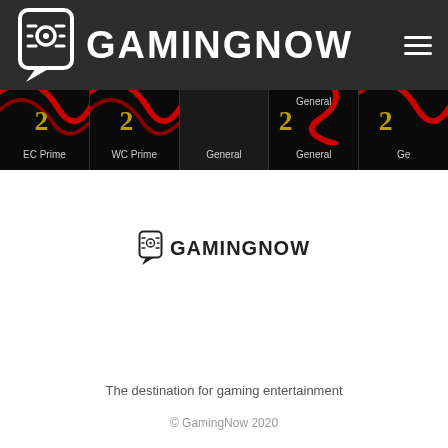[Figure (logo): GamingNow logo in white on dark header bar with hamburger menu icon]
[Figure (screenshot): Navigation strip with dark game-themed thumbnails labeled EC Prime, WC Prime, General, General, Ge...]
[Figure (logo): GamingNow small logo centered in white area]
The destination for gaming entertainment
© GamingNow 2020